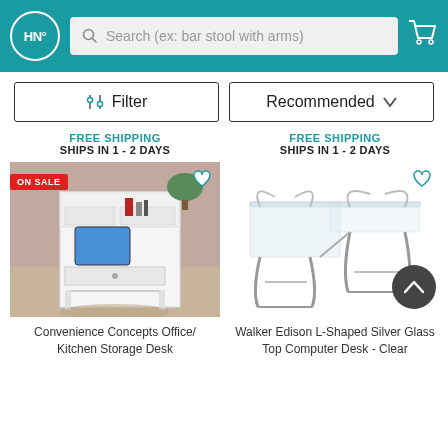HN° — Search (ex: bar stool with arms)
Filter | Recommended
FREE SHIPPING
SHIPS IN 1 - 2 DAYS
FREE SHIPPING
SHIPS IN 1 - 2 DAYS
[Figure (photo): Photo of a white Convenience Concepts Office/Kitchen Storage Desk with shelves and a drawer, styled in a room setting. Has an ON SALE badge in top-left corner and a heart/wishlist icon in top-right.]
Convenience Concepts Office/ Kitchen Storage Desk
[Figure (photo): Photo of a Walker Edison L-Shaped Silver Glass Top Computer Desk - Clear, shown against a white background. Has a heart/wishlist icon in top-right and a scroll-to-top button.]
Walker Edison L-Shaped Silver Glass Top Computer Desk - Clear